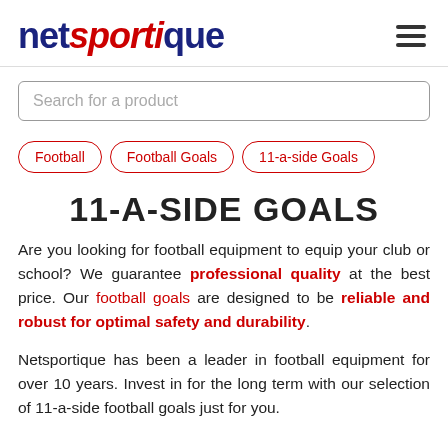netsportique
Search for a product
Football
Football Goals
11-a-side Goals
11-A-SIDE GOALS
Are you looking for football equipment to equip your club or school? We guarantee professional quality at the best price. Our football goals are designed to be reliable and robust for optimal safety and durability.
Netsportique has been a leader in football equipment for over 10 years. Invest in for the long term with our selection of 11-a-side football goals just for you.